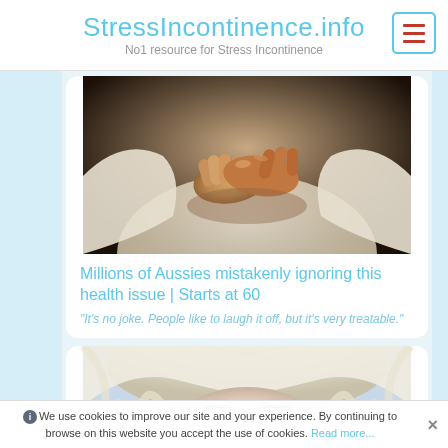StressIncontinence.info
No1 resource for Stress Incontinence
[Figure (photo): Close-up photo of person's clasped hands on lap, wearing white clothing, dark moody background]
Millions of Aussies mistakenly ignoring this health issue | Starts at 60
"It's no joke. People like to laugh it off, but it's very treatable."
[Figure (photo): Close-up of a blonde woman's eyes and forehead, blue eyes, visible only top portion of face]
We use cookies to improve our site and your experience. By continuing to browse on this website you accept the use of cookies. Read more...